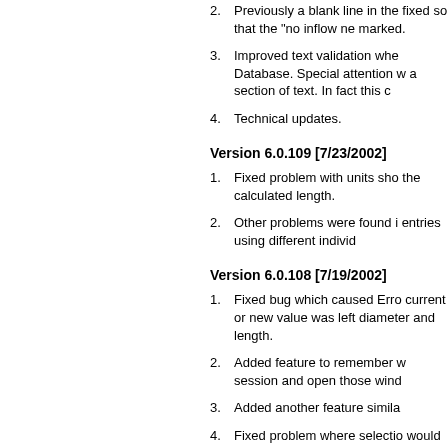2. Previously a blank line in the fixed so that the "no inflow ne marked.
3. Improved text validation whe Database. Special attention w a section of text. In fact this c
4. Technical updates.
Version 6.0.109 [7/23/2002]
1. Fixed problem with units sho the calculated length.
2. Other problems were found i entries using different individ
Version 6.0.108 [7/19/2002]
1. Fixed bug which caused Erro current or new value was left diameter and length.
2. Added feature to remember w session and open those wind
3. Added another feature simila
4. Fixed problem where selectio would cause an error.